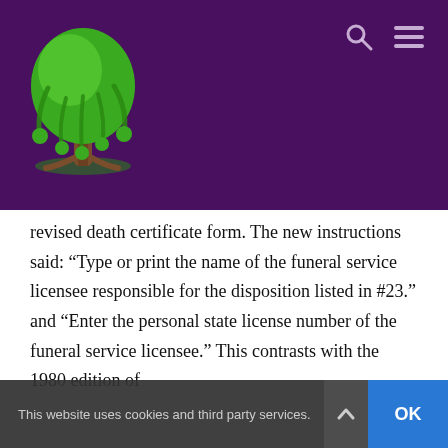[Figure (logo): Willow tree logo in green on purple background, funeral service website header]
revised death certificate form. The new instructions said: “Type or print the name of the funeral service licensee responsible for the disposition listed in #23.” and “Enter the personal state license number of the funeral service licensee.” This contrasts with the 1980 edition of
This website uses cookies and third party services.